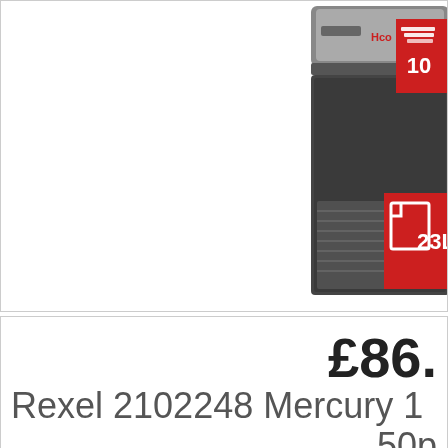[Figure (photo): Product image of Rexel Mercury 10-sheet paper shredder with 23L bin capacity, showing the shredder machine with two red badge icons: one showing '10' sheets capacity with a stacked pages icon, and one showing '23L' bin capacity icon]
£86.
Rexel 2102248 Mercury 1
50p